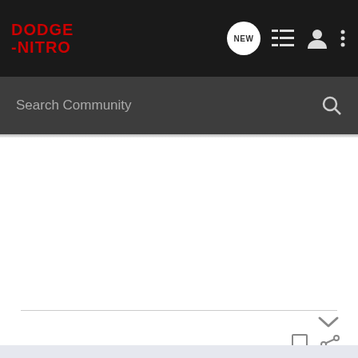[Figure (screenshot): Dodge Nitro community forum website screenshot showing navigation bar with logo, search bar, and user post area]
DODGE -NITRO
Search Community
louisvillebum · Registered